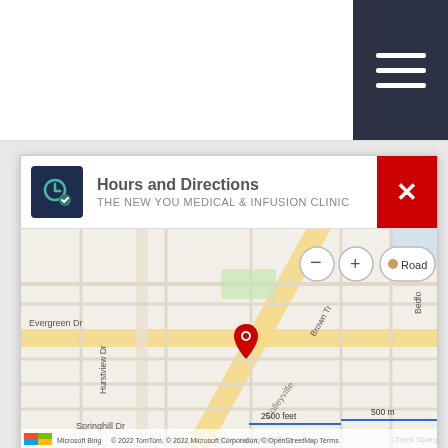[Figure (screenshot): Navigation bar with hamburger menu icon on dark background]
Hours and Directions
THE NEW YOU MEDICAL & INFUSION CLINIC
[Figure (map): Bing map showing location near Colleyville Blvd, Hurst TX area with red pin marker. Controls: zoom out, zoom in, Road view. Attribution: Microsoft Bing, © 2022 TomTom, © 2022 Microsoft Corporation, © OpenStreetMap, Terms. Scale: 2500 feet / 500m]
Address
100 Grapevine Hwy
Hurst, TX 76054
(817) 203-2760
https://www.newyoumedclinic.com/